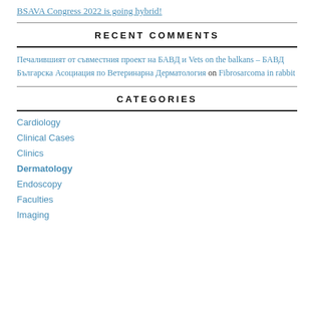BSAVA Congress 2022 is going hybrid!
RECENT COMMENTS
Печалившият от съвместния проект на БАВД и Vets on the balkans – БАВД Българска Асоциация по Ветеринарна Дерматология on Fibrosarcoma in rabbit
CATEGORIES
Cardiology
Clinical Cases
Clinics
Dermatology
Endoscopy
Faculties
Imaging